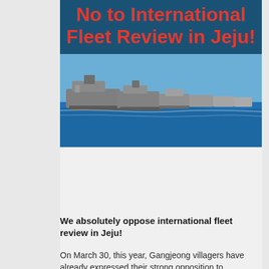[Figure (photo): Protest image showing naval warships at sea with bold red text overlay reading 'No to International Fleet Review in Jeju!']
We absolutely oppose international fleet review in Jeju!
On March 30, this year, Gangjeong villagers have already expressed their strong opposition to international